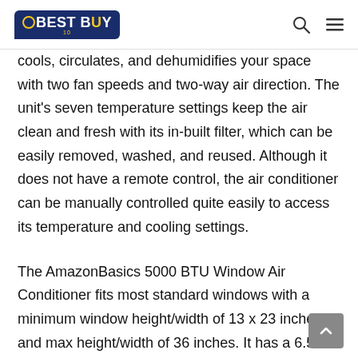10BEST BUY
cools, circulates, and dehumidifies your space with two fan speeds and two-way air direction. The unit's seven temperature settings keep the air clean and fresh with its in-built filter, which can be easily removed, washed, and reused. Although it does not have a remote control, the air conditioner can be manually controlled quite easily to access its temperature and cooling settings.
The AmazonBasics 5000 BTU Window Air Conditioner fits most standard windows with a minimum window height/width of 13 x 23 inches and max height/width of 36 inches. It has a 6.5-foot power cord that allows flexibility. The unit is also easily installable and includes